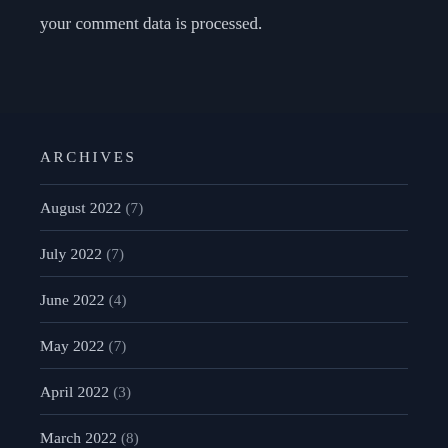your comment data is processed.
ARCHIVES
August 2022 (7)
July 2022 (7)
June 2022 (4)
May 2022 (7)
April 2022 (3)
March 2022 (8)